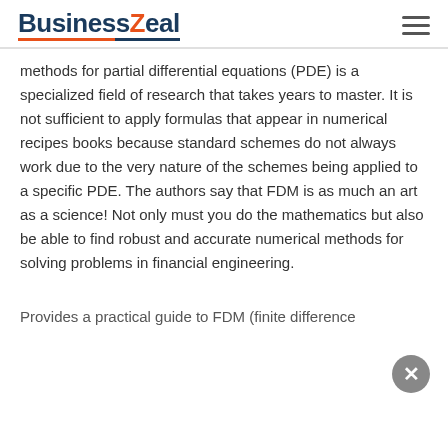BusinessZeal
methods for partial differential equations (PDE) is a specialized field of research that takes years to master. It is not sufficient to apply formulas that appear in numerical recipes books because standard schemes do not always work due to the very nature of the schemes being applied to a specific PDE. The authors say that FDM is as much an art as a science! Not only must you do the mathematics but also be able to find robust and accurate numerical methods for solving problems in financial engineering.
Provides a practical guide to FDM (finite difference